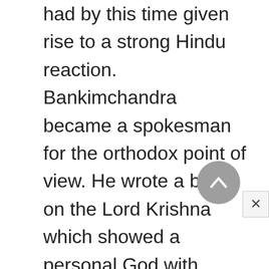had by this time given rise to a strong Hindu reaction. Bankimchandra became a spokesman for the orthodox point of view. He wrote a book on the Lord Krishna which showed a personal God with attributes more lofty than those of the Christian God. Bankimchandra defended the institution of caste, though he acknowledged some of its evils. In one of his last novels, Anandamath, he described a strongly disciplined order of sanyasis who revolted against the medieval Moslem rulers of Bengal